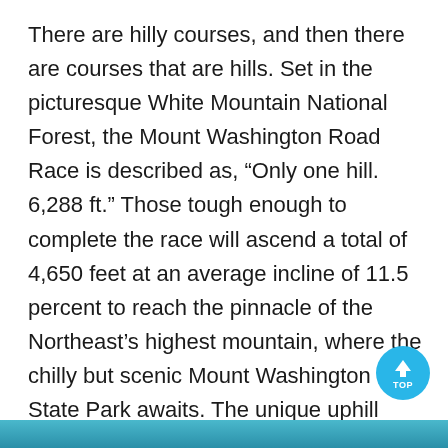There are hilly courses, and then there are courses that are hills. Set in the picturesque White Mountain National Forest, the Mount Washington Road Race is described as, “Only one hill. 6,288 ft.” Those tough enough to complete the race will ascend a total of 4,650 feet at an average incline of 11.5 percent to reach the pinnacle of the Northeast’s highest mountain, where the chilly but scenic Mount Washington State Park awaits. The unique uphill challenge of this long-standing run attracts thousands of out-of-towners from across the United States. and from several countries.